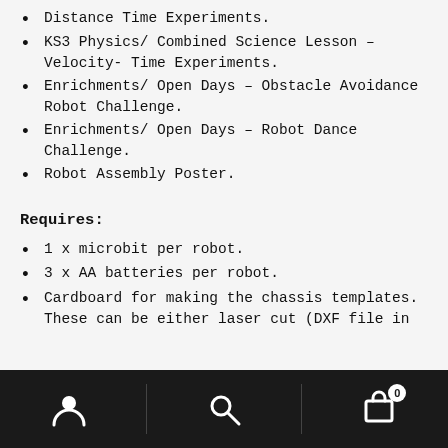Distance Time Experiments.
KS3 Physics/ Combined Science Lesson – Velocity- Time Experiments.
Enrichments/ Open Days – Obstacle Avoidance Robot Challenge.
Enrichments/ Open Days – Robot Dance Challenge.
Robot Assembly Poster.
Requires:
1 x microbit per robot.
3 x AA batteries per robot.
Cardboard for making the chassis templates. These can be either laser cut (DXF file in